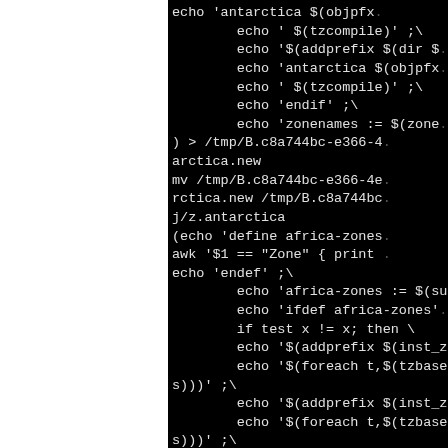[Figure (screenshot): Terminal/code screenshot showing shell script commands on black background. Left portion is white (cropped area). Right portion shows monospace code including echo, mv, awk, and if statements related to timezone compilation and zone name handling.]